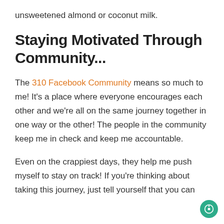unsweetened almond or coconut milk.
Staying Motivated Through Community...
The 310 Facebook Community means so much to me! It's a place where everyone encourages each other and we're all on the same journey together in one way or the other! The people in the community keep me in check and keep me accountable.
Even on the crappiest days, they help me push myself to stay on track! If you're thinking about taking this journey, just tell yourself that you can